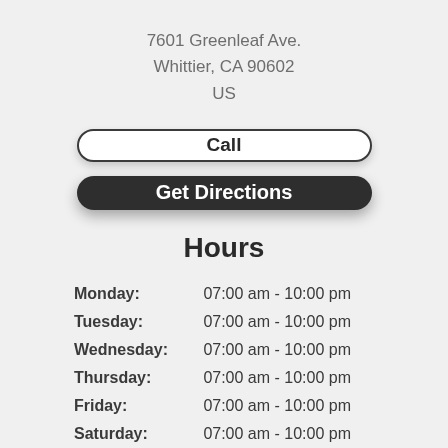7601 Greenleaf Ave.
Whittier, CA 90602
US
Call
Get Directions
Hours
Monday: 07:00 am - 10:00 pm
Tuesday: 07:00 am - 10:00 pm
Wednesday: 07:00 am - 10:00 pm
Thursday: 07:00 am - 10:00 pm
Friday: 07:00 am - 10:00 pm
Saturday: 07:00 am - 10:00 pm